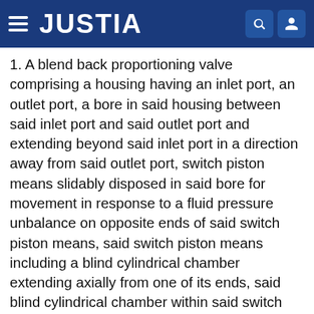JUSTIA
1. A blend back proportioning valve comprising a housing having an inlet port, an outlet port, a bore in said housing between said inlet port and said outlet port and extending beyond said inlet port in a direction away from said outlet port, switch piston means slidably disposed in said bore for movement in response to a fluid pressure unbalance on opposite ends of said switch piston means, said switch piston means including a blind cylindrical chamber extending axially from one of its ends, said blind cylindrical chamber within said switch piston means including a larger diameter portion adjacent said one end and a smaller diameter portion spaced away from said one end, proportioning piston means slidably disposed in said bore between said inlet port and said outlet port in axially aligned relation to said switch piston means, said proportioning piston means having a smaller lateral cross-sectional area